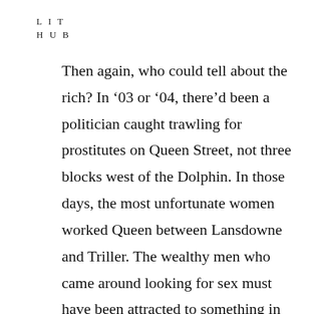LIT
HUB
Then again, who could tell about the rich? In '03 or '04, there'd been a politician caught trawling for prostitutes on Queen Street, not three blocks west of the Dolphin. In those days, the most unfortunate women worked Queen between Lansdowne and Triller. The wealthy men who came around looking for sex must have been attracted to something in Parkdale: the lawless, the sordid, the unlikeliness of being